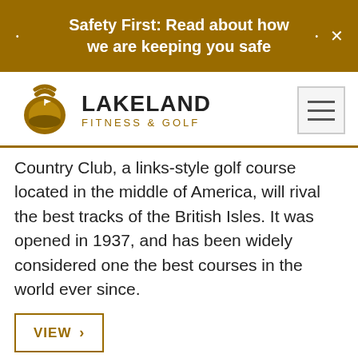Safety First: Read about how we are keeping you safe
[Figure (logo): Lakeland Fitness & Golf logo with kettlebell/golf icon and text]
Country Club, a links-style golf course located in the middle of America, will rival the best tracks of the British Isles. It was opened in 1937, and has been widely considered one the best courses in the world ever since.
VIEW ›
[Figure (photo): Sky with clouds, partial view at bottom of page]